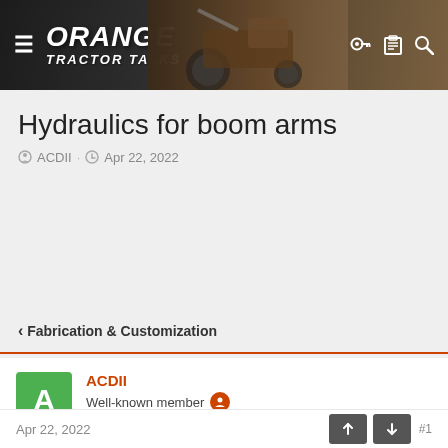Orange Tractor Talks
Hydraulics for boom arms
ACDII · Apr 22, 2022
< Fabrication & Customization
ACDII
Well-known member
Equipment
B2410, L352 Loader, Woods BH70-X backhoe
Apr 22, 2022  #1